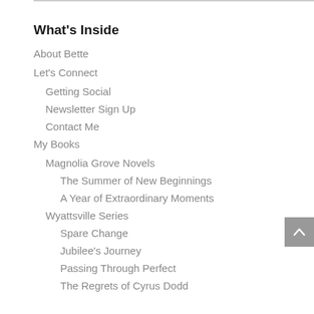What's Inside
About Bette
Let's Connect
Getting Social
Newsletter Sign Up
Contact Me
My Books
Magnolia Grove Novels
The Summer of New Beginnings
A Year of Extraordinary Moments
Wyattsville Series
Spare Change
Jubilee's Journey
Passing Through Perfect
The Regrets of Cyrus Dodd